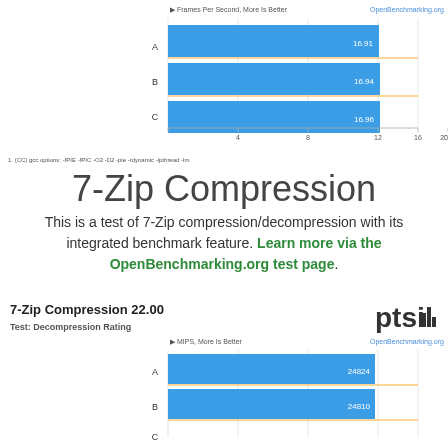[Figure (bar-chart): Frames Per Second, More Is Better]
1. (CC) gcc options: -fPIE -fPIC -O2 -D2 -pie -rdynamic -lpthread -lm
7-Zip Compression
This is a test of 7-Zip compression/decompression with its integrated benchmark feature. Learn more via the OpenBenchmarking.org test page.
7-Zip Compression 22.00
Test: Decompression Rating
[Figure (bar-chart): MIPS, More Is Better]